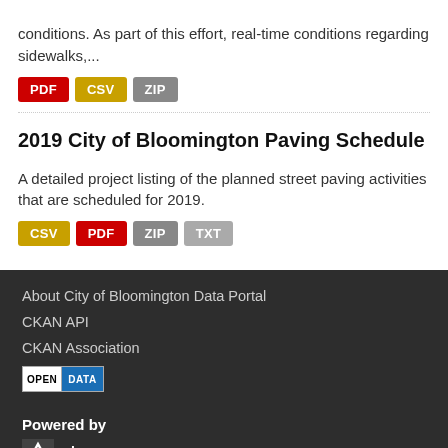conditions. As part of this effort, real-time conditions regarding sidewalks,...
PDF CSV ZIP
2019 City of Bloomington Paving Schedule
A detailed project listing of the planned street paving activities that are scheduled for 2019.
CSV PDF ZIP TXT
About City of Bloomington Data Portal
CKAN API
CKAN Association
[Figure (logo): Open Data badge logo with OPEN and DATA labels]
Powered by
[Figure (logo): CKAN logo with triangle icon and ckan text]